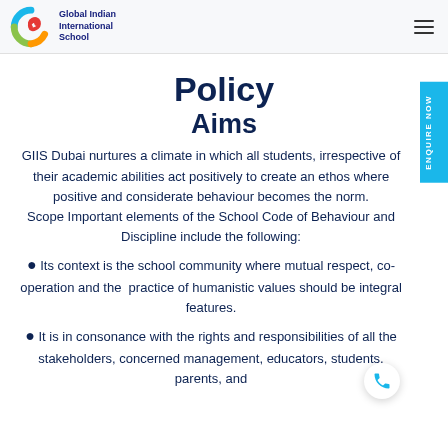Global Indian International School
Policy
Aims
GIIS Dubai nurtures a climate in which all students, irrespective of their academic abilities act positively to create an ethos where positive and considerate behaviour becomes the norm. Scope Important elements of the School Code of Behaviour and Discipline include the following:
Its context is the school community where mutual respect, co-operation and the practice of humanistic values should be integral features.
It is in consonance with the rights and responsibilities of all the stakeholders, concerned management, educators, students, parents, and